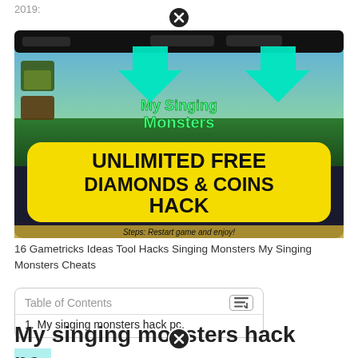2019:
[Figure (screenshot): Screenshot of a mobile game hack advertisement for My Singing Monsters showing two cyan arrows pointing to the top bar of a smartphone screen, with a yellow banner reading 'UNLIMITED FREE DIAMONDS & COINS HACK' and text at the bottom 'Steps: Restart game and enjoy!']
16 Gametricks Ideas Tool Hacks Singing Monsters My Singing Monsters Cheats
| Table of Contents |
| --- |
| 1. My singing monsters hack pc. |
My singing monsters hack pc.